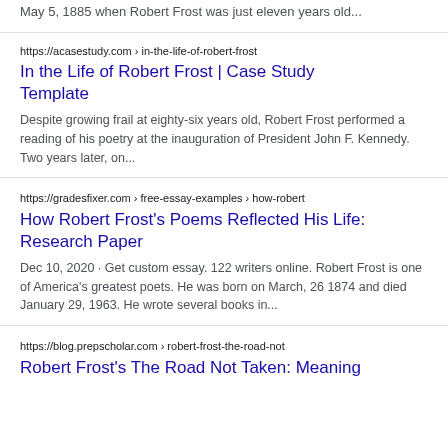May 5, 1885 when Robert Frost was just eleven years old...
https://acasestudy.com › in-the-life-of-robert-frost
In the Life of Robert Frost | Case Study Template
Despite growing frail at eighty-six years old, Robert Frost performed a reading of his poetry at the inauguration of President John F. Kennedy. Two years later, on...
https://gradesfixer.com › free-essay-examples › how-robert
How Robert Frost's Poems Reflected His Life: Research Paper
Dec 10, 2020 · Get custom essay. 122 writers online. Robert Frost is one of America's greatest poets. He was born on March, 26 1874 and died January 29, 1963. He wrote several books in...
https://blog.prepscholar.com › robert-frost-the-road-not
Robert Frost's The Road Not Taken: Meaning